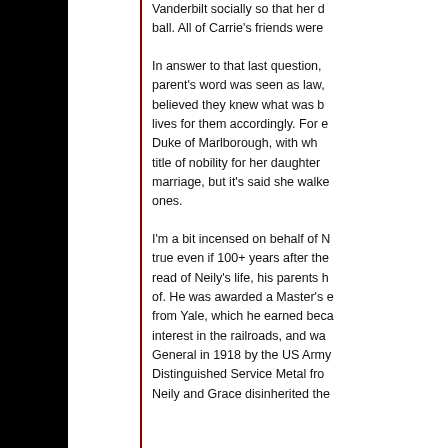Vanderbilt socially so that her d... ball. All of Carrie's friends were...
In answer to that last question, parent's word was seen as law, believed they knew what was b... lives for them accordingly. For e... Duke of Marlborough, with wh... title of nobility for her daughter... marriage, but it's said she walke... ones.
I'm a bit incensed on behalf of M... true even if 100+ years after the... read of Neily's life, his parents h... of. He was awarded a Master's ... from Yale, which he earned beca... interest in the railroads, and wa... General in 1918 by the US Army... Distinguished Service Metal fro... Neily and Grace disinherited the...